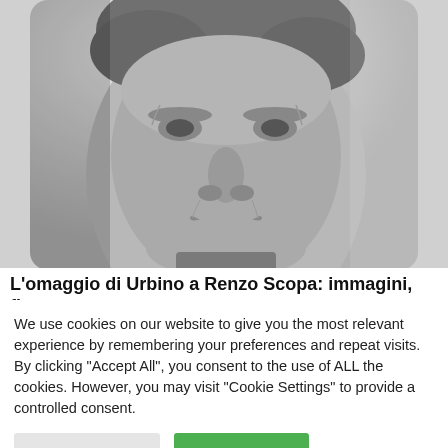[Figure (photo): Black and white close-up portrait of a middle-aged man smiling, with gray hair and visible facial wrinkles, cropped at the shoulders.]
L'omaggio di Urbino a Renzo Scopa: immagini, figure
We use cookies on our website to give you the most relevant experience by remembering your preferences and repeat visits. By clicking "Accept All", you consent to the use of ALL the cookies. However, you may visit "Cookie Settings" to provide a controlled consent.
Cookie Settings
Accetta tutti